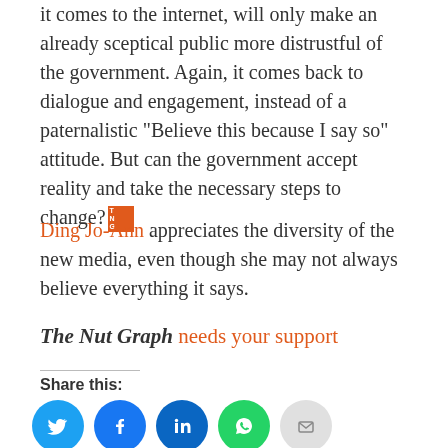it comes to the internet, will only make an already sceptical public more distrustful of the government. Again, it comes back to dialogue and engagement, instead of a paternalistic "Believe this because I say so" attitude. But can the government accept reality and take the necessary steps to change?
Ding Jo-Ann appreciates the diversity of the new media, even though she may not always believe everything it says.
The Nut Graph needs your support
Share this:
[Figure (infographic): Social sharing icons: Twitter (cyan), Facebook (blue), LinkedIn (dark blue), WhatsApp (green), Email (gray)]